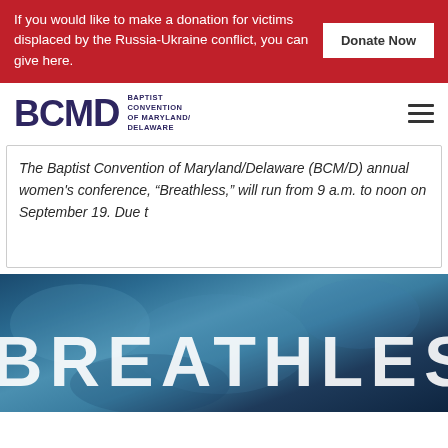If you would like to make a donation for victims displaced by the Russia-Ukraine conflict, you can give here. Donate Now
[Figure (logo): BCMD Baptist Convention of Maryland/Delaware logo with hamburger menu icon]
The Baptist Convention of Maryland/Delaware (BCM/D) annual women's conference, “Breathless,” will run from 9 a.m. to noon on September 19. Due t
[Figure (photo): Blue textured background with large white uppercase text reading BREATHLESS]